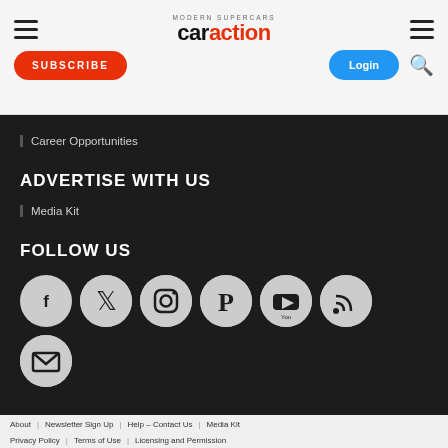Car Action — navigation header with hamburger menus, logo, Subscribe button, Login button, search icon
Career Opportunities
ADVERTISE WITH US
Media Kit
FOLLOW US
[Figure (infographic): Row of seven social media icon circles: Facebook, Twitter, Instagram, Pinterest, YouTube, RSS, Email]
About   Newsletter Sign Up   Help – Contact Us   Media Kit   Privacy Policy   Terms of Use   Licensing and Permission
Active Media © 2022